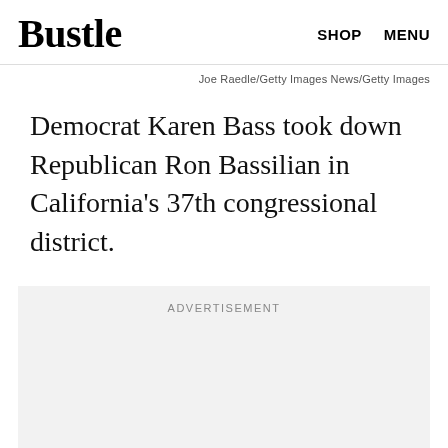Bustle | SHOP MENU
Joe Raedle/Getty Images News/Getty Images
Democrat Karen Bass took down Republican Ron Bassilian in California's 37th congressional district.
ADVERTISEMENT